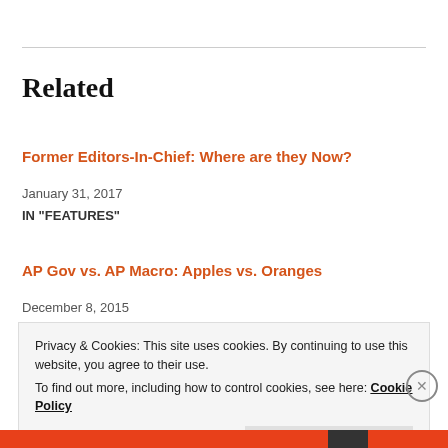Related
Former Editors-In-Chief: Where are they Now?
January 31, 2017
IN "FEATURES"
AP Gov vs. AP Macro: Apples vs. Oranges
December 8, 2015
Privacy & Cookies: This site uses cookies. By continuing to use this website, you agree to their use.
To find out more, including how to control cookies, see here: Cookie Policy
Close and accept